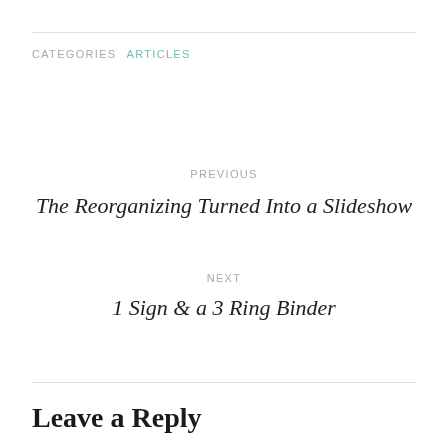CATEGORIES  ARTICLES
PREVIOUS
The Reorganizing Turned Into a Slideshow
NEXT
1 Sign & a 3 Ring Binder
Leave a Reply